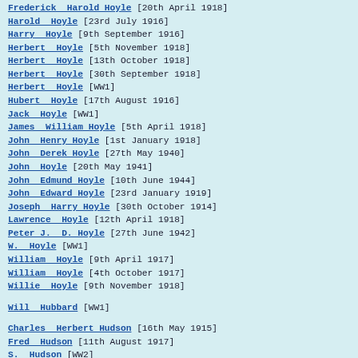Frederick Harold Hoyle [20th April 1918]
Harold Hoyle [23rd July 1916]
Harry Hoyle [9th September 1916]
Herbert Hoyle [5th November 1918]
Herbert Hoyle [13th October 1918]
Herbert Hoyle [30th September 1918]
Herbert Hoyle [WW1]
Hubert Hoyle [17th August 1916]
Jack Hoyle [WW1]
James William Hoyle [5th April 1918]
John Henry Hoyle [1st January 1918]
John Derek Hoyle [27th May 1940]
John Hoyle [20th May 1941]
John Edmund Hoyle [10th June 1944]
John Edward Hoyle [23rd January 1919]
Joseph Harry Hoyle [30th October 1914]
Lawrence Hoyle [12th April 1918]
Peter J. D. Hoyle [27th June 1942]
W. Hoyle [WW1]
William Hoyle [9th April 1917]
William Hoyle [4th October 1917]
Willie Hoyle [9th November 1918]
Will Hubbard [WW1]
Charles Herbert Hudson [16th May 1915]
Fred Hudson [11th August 1917]
S. Hudson [WW2]
Stanley Hudson [3rd September 1942]
Charles Hughes [10th September 1916]